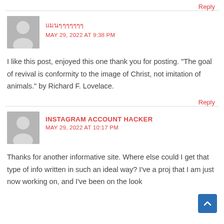Reply
แมนๆๆๆๆๆๆๆ
MAY 29, 2022 AT 9:38 PM
I like this post, enjoyed this one thank you for posting. "The goal of revival is conformity to the image of Christ, not imitation of animals." by Richard F. Lovelace.
Reply
INSTAGRAM ACCOUNT HACKER
MAY 29, 2022 AT 10:17 PM
Thanks for another informative site. Where else could I get that type of info written in such an ideal way? I've a proj that I am just now working on, and I've been on the look